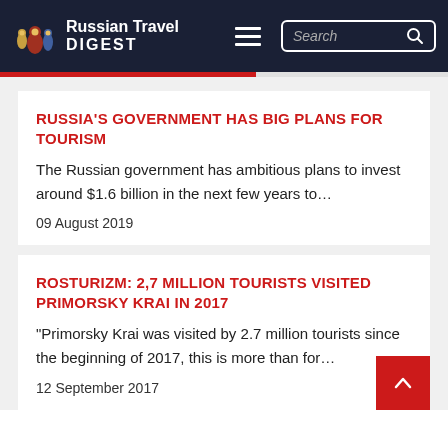Russian Travel DIGEST
RUSSIA'S GOVERNMENT HAS BIG PLANS FOR TOURISM
The Russian government has ambitious plans to invest around $1.6 billion in the next few years to…
09 August 2019
ROSTURIZM: 2,7 MILLION TOURISTS VISITED PRIMORSKY KRAI IN 2017
"Primorsky Krai was visited by 2.7 million tourists since the beginning of 2017, this is more than for…
12 September 2017